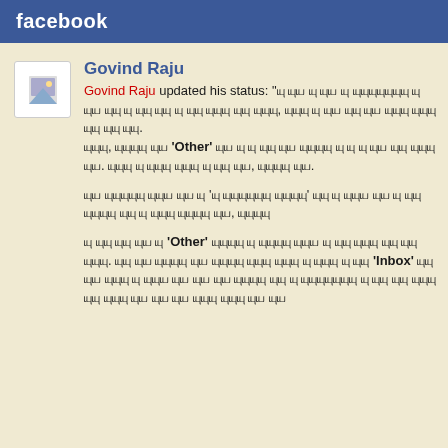facebook
Govind Raju
Govind Raju updated his status: "யு யுய யு யுய யு யுயுயுயுயுயுயு யு யுய யுயு யு யுயு யுயு யு யுயு யுயுயு யுயு யுயுயு, யுயுயு யு யுய யுயு யுய யுயுயு யுயுயு யுயு யுயு யுயு. யுயுயு, யுயுயுயு யுய 'Other' யுய யு யு யுயு யுய யுயுயுயு யு யு யு யுய யுயு யுயுயு யுய. யுயுயு யு யுயுயு யுயுயு யு யுயு யுய, யுயுயுயு யுய. யுய யுயுயுயுயு யுயுய யுய யு 'யு யுயுயுயுயுயு யுயுயுயு' யுயு யு யுயுய யுய யு யுயு யுயுயுயு யுயு யு யுயுயு யுயுயுயு யுய, யுயுயுயு யு யுயு யுயு யுய யு 'Other' யுயுயுயு யு யுயுயுயு யுயுய யு யுயு யுயுயு யுயு யுயு யுயுயு. யுயு யுய யுயுயுயு யுய யுயுயுயு யுயுயு யுயுயு யு யுயுயு யு யுயு 'Inbox' யுயு யுய யுயுயு யு யுயுய யுய யுய யுய யுயுயுயு யுயு யுயுயுயுயுயுயு யு யுயு யுயு யுயுயு யுயு யுயுயு யுய யுய யுய யுயுயு யுயுயு யுய யுய